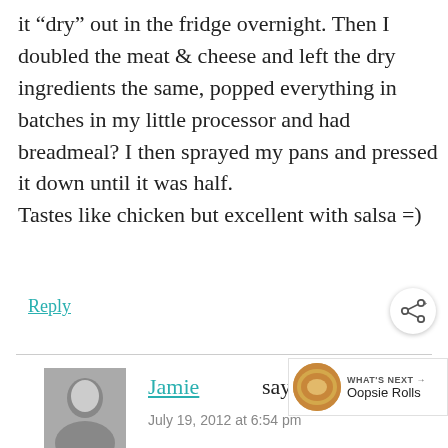it “dry” out in the fridge overnight. Then I doubled the meat & cheese and left the dry ingredients the same, popped everything in batches in my little processor and had breadmeal? I then sprayed my pans and pressed it down until it was half.
Tastes like chicken but excellent with salsa =)
Reply
Jamie says
July 19, 2012 at 6:54 pm